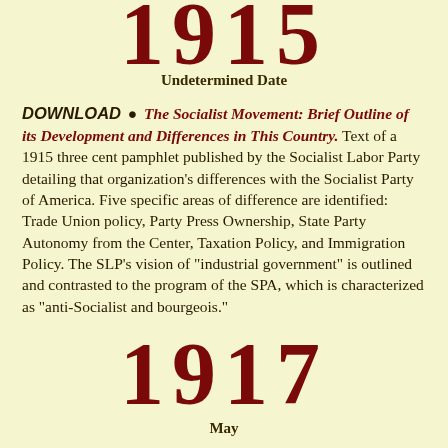1915
Undetermined Date
DOWNLOAD • The Socialist Movement: Brief Outline of its Development and Differences in This Country. Text of a 1915 three cent pamphlet published by the Socialist Labor Party detailing that organization's differences with the Socialist Party of America. Five specific areas of difference are identified: Trade Union policy, Party Press Ownership, State Party Autonomy from the Center, Taxation Policy, and Immigration Policy. The SLP's vision of "industrial government" is outlined and contrasted to the program of the SPA, which is characterized as "anti-Socialist and bourgeois."
1917
May